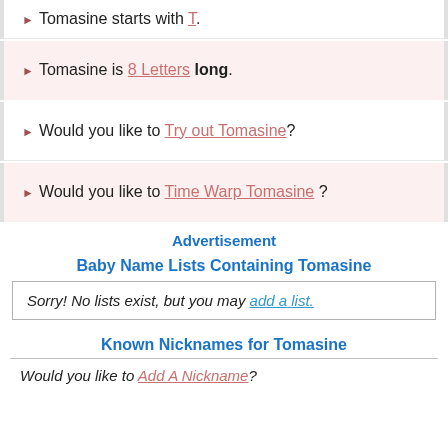Tomasine starts with T.
Tomasine is 8 Letters long.
Would you like to Try out Tomasine?
Would you like to Time Warp Tomasine ?
Advertisement
Baby Name Lists Containing Tomasine
Sorry! No lists exist, but you may add a list.
Known Nicknames for Tomasine
Would you like to Add A Nickname?